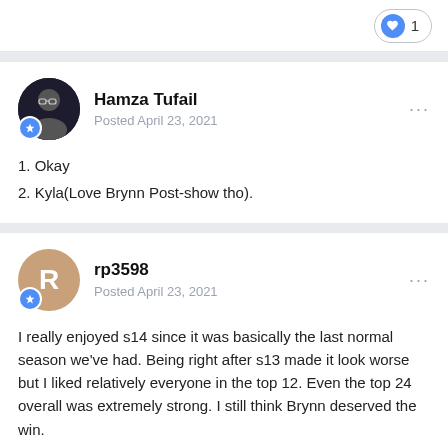[Figure (other): Like button pill with heart icon and count of 1]
Hamza Tufail
Posted April 23, 2021
1. Okay
2. Kyla(Love Brynn Post-show tho).
rp3598
Posted April 23, 2021
I really enjoyed s14 since it was basically the last normal season we've had. Being right after s13 made it look worse but I liked relatively everyone in the top 12. Even the top 24 overall was extremely strong. I still think Brynn deserved the win.